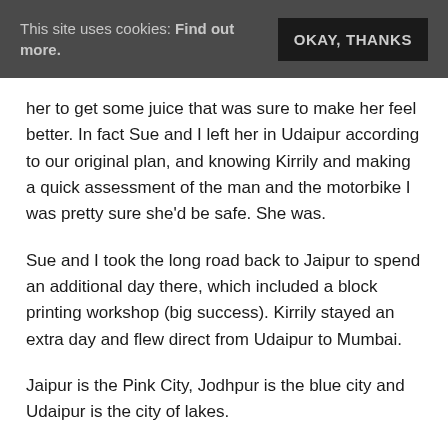This site uses cookies: Find out more.   OKAY, THANKS
her to get some juice that was sure to make her feel better.  In fact Sue and I left her in Udaipur according to our original plan, and knowing Kirrily and making a quick assessment of the man and the motorbike I was pretty sure she'd be safe. She was.
Sue and I took the long road back to Jaipur to spend an additional day there, which included a block printing workshop (big success).  Kirrily stayed an extra day and flew direct from Udaipur to Mumbai.
Jaipur is the Pink City, Jodhpur is the blue city and Udaipur is the city of lakes.